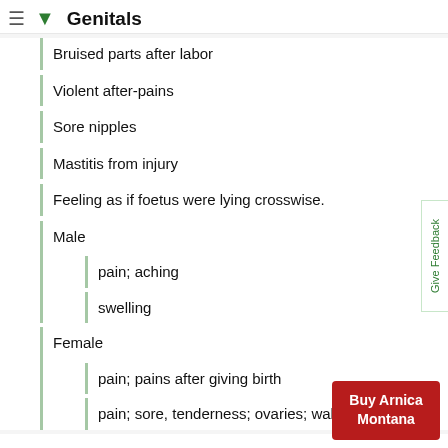Genitals
Bruised parts after labor
Violent after-pains
Sore nipples
Mastitis from injury
Feeling as if foetus were lying crosswise.
Male
pain; aching
swelling
Female
pain; pains after giving birth
pain; sore, tenderness; ovaries; walking
≡ more ...
Buy Arnica Montana